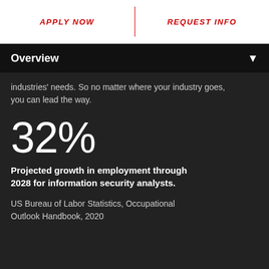APPLY NOW | REQUEST INFO
Overview
industries' needs. So no matter where your industry goes, you can lead the way.
32%
Projected growth in employment through 2028 for information security analysts.
US Bureau of Labor Statistics, Occupational Outlook Handbook, 2020